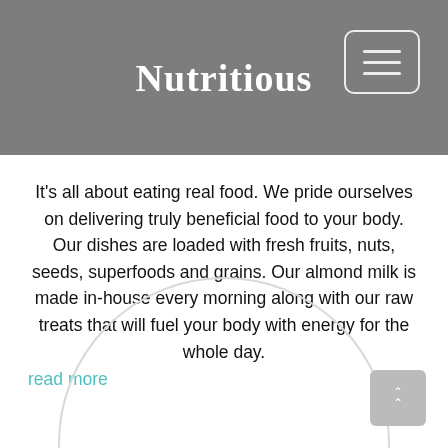Nutritious
It’s all about eating real food. We pride ourselves on delivering truly beneficial food to your body. Our dishes are loaded with fresh fruits, nuts, seeds, superfoods and grains. Our almond milk is made in-house every morning along with our raw treats that will fuel your body with energy for the whole day. read more
[Figure (illustration): Large light grey circle partially visible at the bottom of the page, cropped by the page boundary.]
[Figure (other): Back-to-top button with double chevron up arrow, grey rounded square, bottom right corner.]